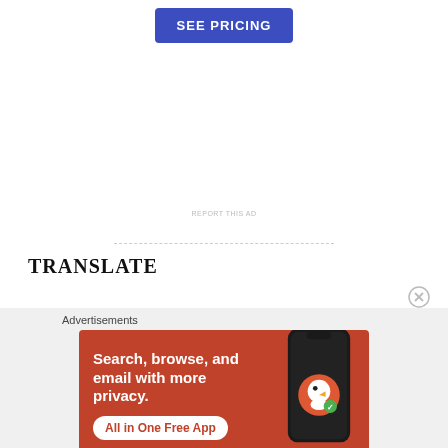[Figure (other): Blue 'SEE PRICING' button at top center]
REPORT THIS AD
TRANSLATE
Advertisements
[Figure (other): DuckDuckGo advertisement banner with orange background showing 'Search, browse, and email with more privacy. All in One Free App' text and a phone image with DuckDuckGo logo]
REPORT THIS AD